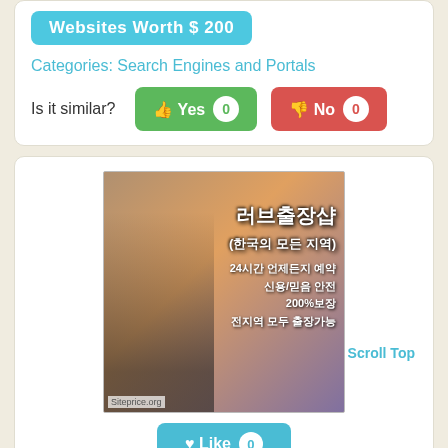Websites Worth $ 200
Categories: Search Engines and Portals
Is it similar? Yes 0  No 0
[Figure (screenshot): Screenshot of a Korean website showing a woman in black outfit with Korean text: 러브출장샵 (한국의 모든 지역), 24시간 언제든지 예약, 신용/믿음 안전, 200%보장, 전지역 모두 출장가능. Siteprice.org watermark visible.]
Scroll Top
Like 0
google.sn.cn